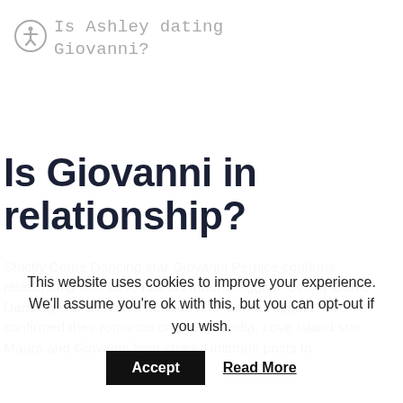Is Ashley dating Giovanni?
Is Giovanni in relationship?
Strictly Come Dancing star Giovanni Pernice confirms relationship with Love Islands Maura Higgins. Strictly Come Dancing star Giovanni Pernice and Maura Higgins have confirmed their romance on social media. Love Island star Maura and Giovanni both shared intimate posts to
This website uses cookies to improve your experience. We'll assume you're ok with this, but you can opt-out if you wish.
Accept  Read More